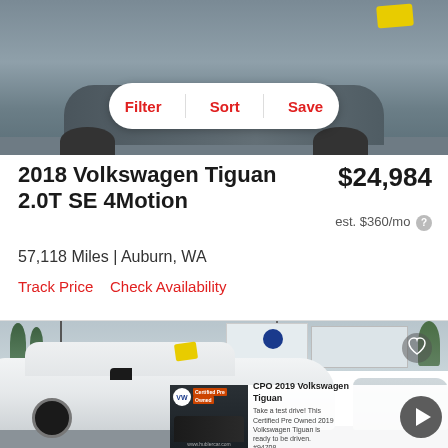[Figure (photo): Top portion of a gray SUV from rear/side angle in a parking area, with a yellow price sticker visible]
[Figure (screenshot): Filter/Sort/Save button bar overlay on top photo]
2018 Volkswagen Tiguan 2.0T SE 4Motion
$24,984
est. $360/mo
57,118 Miles | Auburn, WA
Track Price    Check Availability
[Figure (photo): White 2019 Volkswagen Tiguan CPO at a VW dealership lot, with a heart/favorite icon overlay and a video preview panel at bottom]
CPO 2019 Volkswagen Tiguan — Take a test drive! This Certified Pre Owned 2019 Volkswagen Tiguan is ready to be driven. #94708